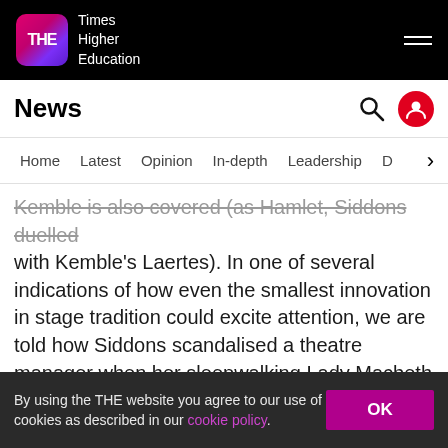THE Times Higher Education
News
Home | Latest | Opinion | In-depth | Leadership | D >
Kemble is also covered (as Hamlet, Siddons duelled with Kemble's Laertes). In one of several indications of how even the smallest innovation in stage tradition could excite attention, we are told how Siddons scandalised a theatre manager when her sleepwalking Lady Macbeth put down her candle before washing her hands, thus revolutionising the business associated with her part. Her Volumnia also failed to keep pace with the orchestra when entering, moving instead in a way that Siddons took to mirror the character's
By using the THE website you agree to our use of cookies as described in our cookie policy.